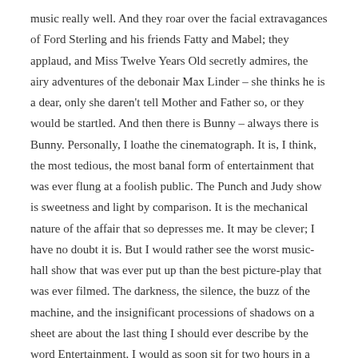music really well. And they roar over the facial extravagances of Ford Sterling and his friends Fatty and Mabel; they applaud, and Miss Twelve Years Old secretly admires, the airy adventures of the debonair Max Linder – she thinks he is a dear, only she daren't tell Mother and Father so, or they would be startled. And then there is Bunny – always there is Bunny. Personally, I loathe the cinematograph. It is, I think, the most tedious, the most banal form of entertainment that was ever flung at a foolish public. The Punch and Judy show is sweetness and light by comparison. It is the mechanical nature of the affair that so depresses me. It may be clever; I have no doubt it is. But I would rather see the worst music-hall show that was ever put up than the best picture-play that was ever filmed. The darkness, the silence, the buzz of the machine, and the insignificant processions of shadows on a sheet are about the last thing I should ever describe by the word Entertainment. I would as soon sit for two hours in a Baptist Chapel. But, fortunately, there is always Bunny; or at least Bunny's face. Bunny's face is … But no. There is no use in attempting to describe that face. There is only itself with which to